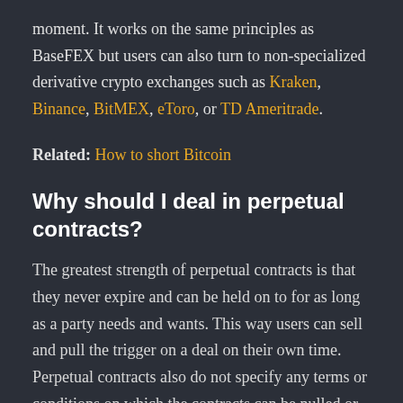moment. It works on the same principles as BaseFEX but users can also turn to non-specialized derivative crypto exchanges such as Kraken, Binance, BitMEX, eToro, or TD Ameritrade.
Related: How to short Bitcoin
Why should I deal in perpetual contracts?
The greatest strength of perpetual contracts is that they never expire and can be held on to for as long as a party needs and wants. This way users can sell and pull the trigger on a deal on their own time. Perpetual contracts also do not specify any terms or conditions on which the contracts can be nulled or terminated, which leaves a lot of doors open at all times.